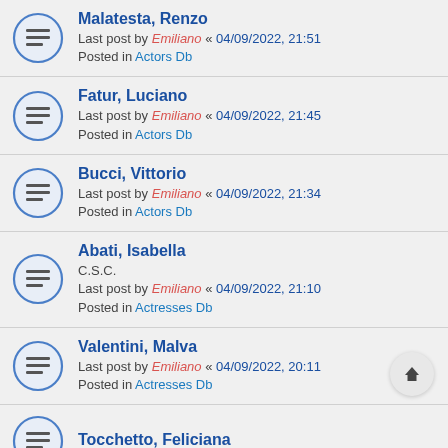Malatesta, Renzo
Last post by Emiliano « 04/09/2022, 21:51
Posted in Actors Db
Fatur, Luciano
Last post by Emiliano « 04/09/2022, 21:45
Posted in Actors Db
Bucci, Vittorio
Last post by Emiliano « 04/09/2022, 21:34
Posted in Actors Db
Abati, Isabella
C.S.C.
Last post by Emiliano « 04/09/2022, 21:10
Posted in Actresses Db
Valentini, Malva
Last post by Emiliano « 04/09/2022, 20:11
Posted in Actresses Db
Tocchetto, Feliciana